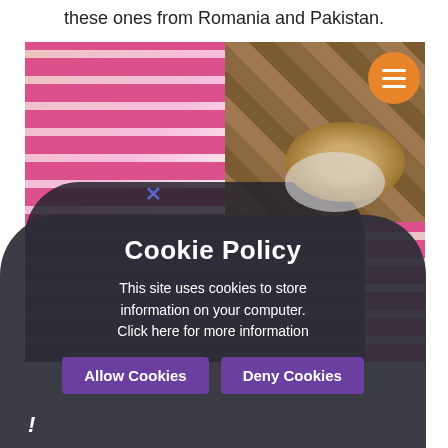these ones from Romania and Pakistan.
[Figure (photo): Child in pink striped top holding a braided bread/cake on a white plate, other children visible in background on a wooden floor]
Cookie Policy
This site uses cookies to store information on your computer. Click here for more information
Allow Cookies   Deny Cookies
!